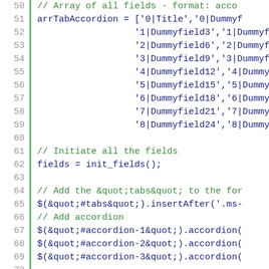[Figure (screenshot): Source code listing showing JavaScript/jQuery code with line numbers 50-75. Lines include array definition (arrTabAccordion), field initialization, tab and accordion jQuery calls, and a loop with split operations. Line numbers are shown in gray on the left, a green vertical bar separates them from the code. Comments are in green, code in dark blue, keywords in bold blue.]